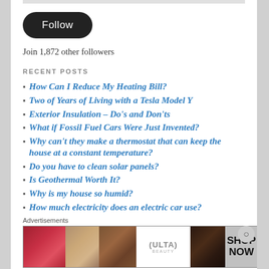[Figure (other): Black Follow button (pill/rounded rectangle shape)]
Join 1,872 other followers
RECENT POSTS
How Can I Reduce My Heating Bill?
Two of Years of Living with a Tesla Model Y
Exterior Insulation – Do's and Don'ts
What if Fossil Fuel Cars Were Just Invented?
Why can't they make a thermostat that can keep the house at a constant temperature?
Do you have to clean solar panels?
Is Geothermal Worth It?
Why is my house so humid?
How much electricity does an electric car use?
Advertisements
[Figure (photo): Ulta Beauty advertisement banner showing makeup/cosmetics imagery with SHOP NOW call to action]